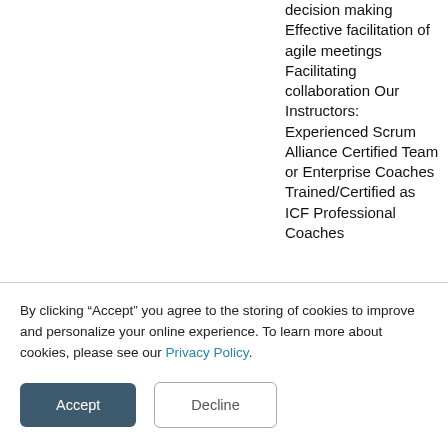decision making Effective facilitation of agile meetings Facilitating collaboration Our Instructors: Experienced Scrum Alliance Certified Team or Enterprise Coaches Trained/Certified as ICF Professional Coaches
By clicking “Accept” you agree to the storing of cookies to improve and personalize your online experience. To learn more about cookies, please see our Privacy Policy.